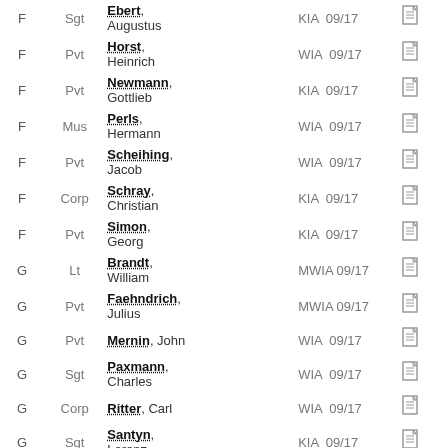| Company | Rank | Name | Status | Date | Icon |
| --- | --- | --- | --- | --- | --- |
| F | Sgt | Ebert, Augustus | KIA | 09/17 |  |
| F | Pvt | Horst, Heinrich | WIA | 09/17 |  |
| F | Pvt | Newmann, Gottlieb | KIA | 09/17 |  |
| F | Mus | Perls, Hermann | WIA | 09/17 |  |
| F | Pvt | Scheihing, Jacob | WIA | 09/17 |  |
| F | Corp | Schray, Christian | KIA | 09/17 |  |
| F | Pvt | Simon, Georg | KIA | 09/17 |  |
| G | Lt | Brandt, William | MWIA | 09/17 |  |
| G | Pvt | Faehndrich, Julius | MWIA | 09/17 |  |
| G | Pvt | Mernin, John | WIA | 09/17 |  |
| G | Sgt | Paxmann, Charles | WIA | 09/17 |  |
| G | Corp | Ritter, Carl | WIA | 09/17 |  |
| G | Sgt | Santyn, Lorenz | KIA | 09/17 |  |
| G | Pvt | Schürmann, Heinrich | KIA | 09/17 |  |